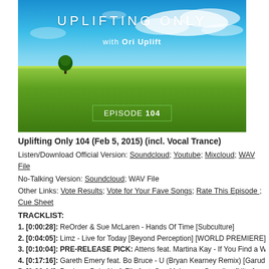[Figure (illustration): Uplifting Only Episode 104 podcast cover art: bright blue sky with clouds above a lush green field with a single tree on the horizon. Text reads 'uplifting only with Ori Uplift' and 'EPISODE 104' in a bordered box.]
Uplifting Only 104 (Feb 5, 2015) (incl. Vocal Trance)
Listen/Download Official Version: Soundcloud; Youtube; Mixcloud; WAV File
No-Talking Version: Soundcloud; WAV File
Other Links: Vote Results; Vote for Your Fave Songs; Rate This Episode ; Cue Sheet
TRACKLIST:
1. [0:00:28]: ReOrder & Sue McLaren - Hands Of Time [Subculture]
2. [0:04:05]: Limz - Live for Today [Beyond Perception] [WORLD PREMIERE]
3. [0:10:04]: PRE-RELEASE PICK: Attens feat. Martina Kay - If You Find a Way (Pla
4. [0:17:16]: Gareth Emery feat. Bo Bruce - U (Bryan Kearney Remix) [Garuda]
5. [0:23:14]: Paul van Dyk, Aly & Fila feat. Sue McLaren - Guardian [Ultra]
6. [0:28:25]: Taila 2XLC & RAM feat. Kim Kiona - Until the End [ITWT]